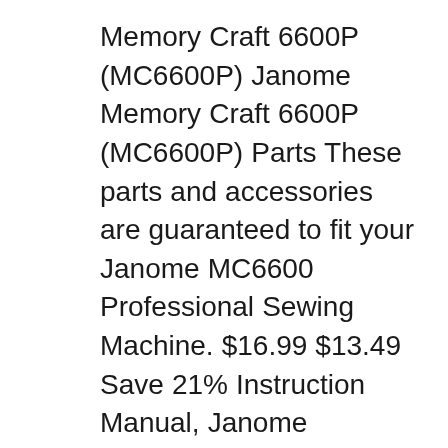Memory Craft 6600P (MC6600P) Janome Memory Craft 6600P (MC6600P) Parts These parts and accessories are guaranteed to fit your Janome MC6600 Professional Sewing Machine. $16.99 $13.49 Save 21% Instruction Manual, Janome MC6600P. More Info $13.99 $8.99 Save 36% Invisible Zipper Foot, High Shank #148475001. More Info Last autumn, the Janome of American company offered to send me a Memory Craft 9400 sewing machine and asked me to use it and provide honest feedback in a review. Let me begin by saying IвЂ™ve sewn on previous Janome machines including the 11000, the 6600, 8900 and more recently the 15000.